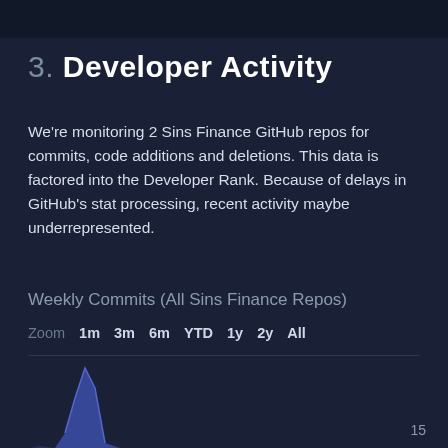3. Developer Activity
We're monitoring 2 Sins Finance GitHub repos for commits, code additions and deletions. This data is factored into the Developer Rank. Because of delays in GitHub's stat processing, recent activity maybe underrepresented.
Weekly Commits (All Sins Finance Repos)
Zoom 1m 3m 6m YTD 1y 2y All
[Figure (area-chart): Partial view of a weekly commits area chart for Sins Finance repos, showing a blue spike/peak on the left side of the chart. The chart is cut off at the bottom of the page.]
15